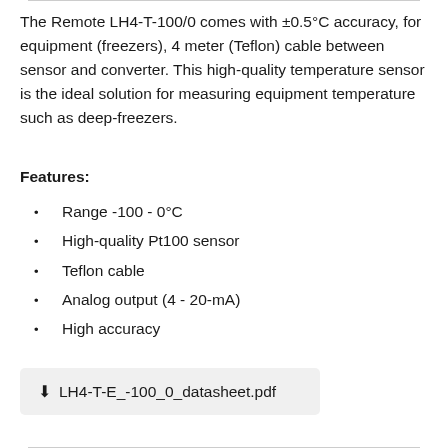The Remote LH4-T-100/0 comes with ±0.5°C accuracy, for equipment (freezers), 4 meter (Teflon) cable between sensor and converter. This high-quality temperature sensor is the ideal solution for measuring equipment temperature such as deep-freezers.
Features:
Range -100 - 0°C
High-quality Pt100 sensor
Teflon cable
Analog output (4 - 20-mA)
High accuracy
⬇ LH4-T-E_-100_0_datasheet.pdf